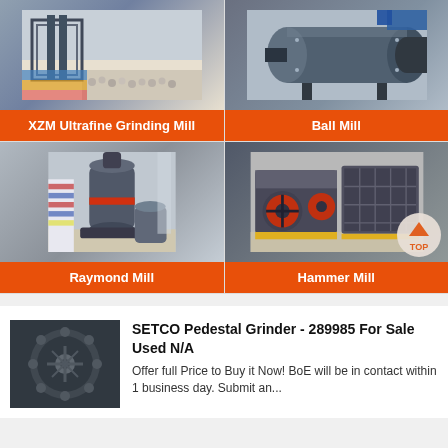[Figure (photo): XZM Ultrafine Grinding Mill industrial machine in factory setting with white pellets]
XZM Ultrafine Grinding Mill
[Figure (photo): Ball Mill machine, dark grey, industrial]
Ball Mill
[Figure (photo): Raymond Mill tall cylindrical grinding machine in factory]
Raymond Mill
[Figure (photo): Hammer Mill heavy industrial crushing machine in factory]
Hammer Mill
[Figure (photo): SETCO Pedestal Grinder 289985 machine close-up]
SETCO Pedestal Grinder - 289985 For Sale Used N/A
Offer full Price to Buy it Now! BoE will be in contact within 1 business day. Submit an...